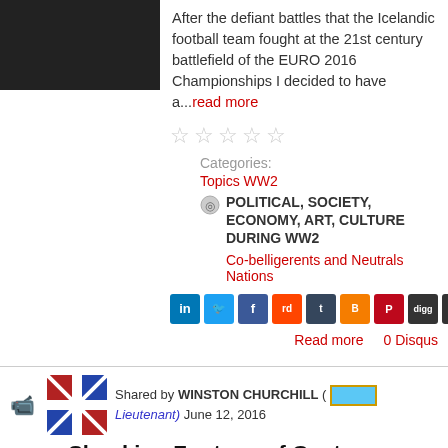[Figure (photo): Dark grayscale image top left]
After the defiant battles that the Icelandic football team fought at the 21st century battlefield of the EURO 2016 Championships I decided to have a...read more
☆☆☆☆☆
Categories:
Topics WW2
POLITICAL, SOCIETY, ECONOMY, ART, CULTURE DURING WW2
Co-belligerents and Neutrals Nations
[Figure (infographic): Social sharing buttons: LinkedIn, Twitter, Facebook, Reddit, Tumblr, Blogger, Pinterest, Digg, StumbleUpon]
Read more   0 Disqus
Shared by WINSTON CHURCHILL ( [rank badge] Lieutenant) June 12, 2016
Shocking Footage of Gestapo Torture Chamber Under Eiffel Tower!
[Figure (photo): Black and white historical photo bottom left]
Under Nazi rule, Parisians and French Resistance were